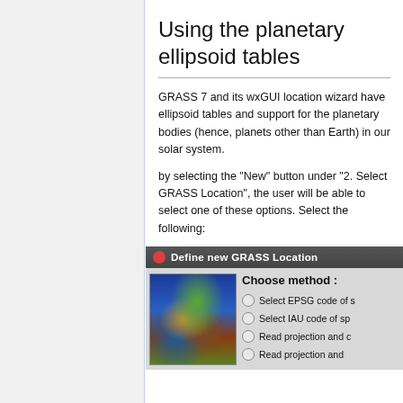Using the planetary ellipsoid tables
GRASS 7 and its wxGUI location wizard have ellipsoid tables and support for the planetary bodies (hence, planets other than Earth) in our solar system.
by selecting the "New" button under "2. Select GRASS Location", the user will be able to select one of these options. Select the following:
[Figure (screenshot): Screenshot of 'Define new GRASS Location' dialog showing a world map image on the left and radio button options on the right including: Select EPSG code of s[patial reference system], Select IAU code of sp[atial reference system], Read projection and [datum terms from a file], Read projection and [datum terms from a file]]